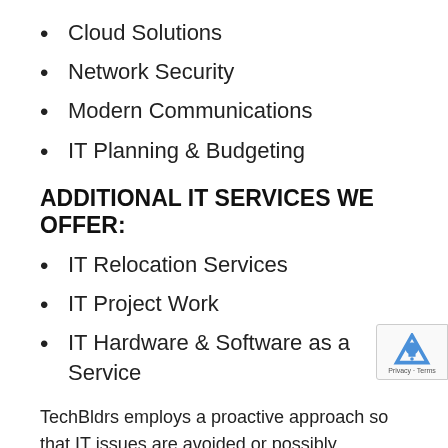Cloud Solutions
Network Security
Modern Communications
IT Planning & Budgeting
ADDITIONAL IT SERVICES WE OFFER:
IT Relocation Services
IT Project Work
IT Hardware & Software as a Service
TechBldrs employs a proactive approach so that IT issues are avoided or possibly eliminated. We provide this assurance via network monitoring, maintenance, and planning. Most important, we